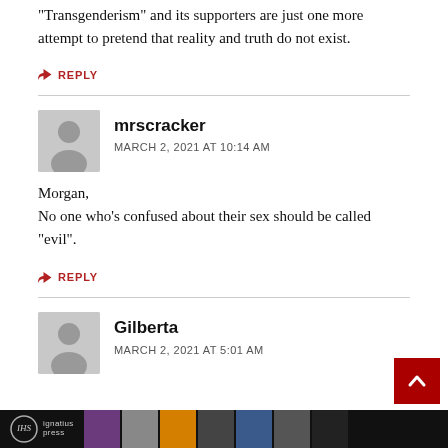“Transgenderism” and its supporters are just one more attempt to pretend that reality and truth do not exist.
← REPLY
mrscracker
MARCH 2, 2021 AT 10:14 AM
Morgan,
No one who’s confused about their sex should be called “evil”.
← REPLY
Gilberta
MARCH 2, 2021 AT 5:01 AM